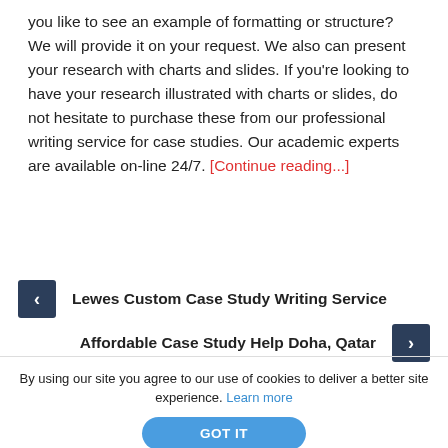you like to see an example of formatting or structure? We will provide it on your request. We also can present your research with charts and slides. If you're looking to have your research illustrated with charts or slides, do not hesitate to purchase these from our professional writing service for case studies. Our academic experts are available on-line 24/7. [Continue reading...]
< Lewes Custom Case Study Writing Service
Affordable Case Study Help Doha, Qatar >
By using our site you agree to our use of cookies to deliver a better site experience. Learn more
GOT IT